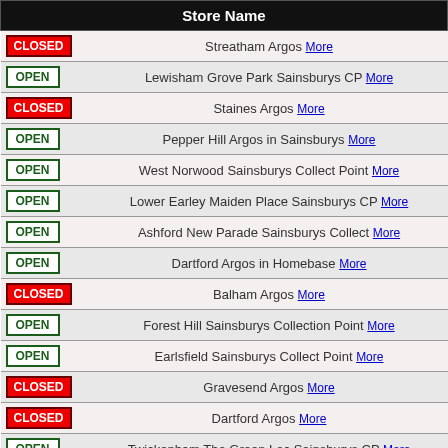| Store Name |
| --- |
| CLOSED | Streatham Argos More |
| OPEN | Lewisham Grove Park Sainsburys CP More |
| CLOSED | Staines Argos More |
| OPEN | Pepper Hill Argos in Sainsburys More |
| OPEN | West Norwood Sainsburys Collect Point More |
| OPEN | Lower Earley Maiden Place Sainsburys CP More |
| OPEN | Ashford New Parade Sainsburys Collect More |
| OPEN | Dartford Argos in Homebase More |
| CLOSED | Balham Argos More |
| OPEN | Forest Hill Sainsburys Collection Point More |
| OPEN | Earlsfield Sainsburys Collect Point More |
| CLOSED | Gravesend Argos More |
| CLOSED | Dartford Argos More |
| OPEN | Twickenham The Green Loc Sainsburys CP More |
| OPEN | Brixton Hill Sainsburys Collect Point More |
| CLOSED | Catford Argos More |
| CLOSED | Feltham Argos More |
| OPEN | Dartford Crayford Argos In Sainsburys More |
| CLOSED | Eltham Argos More |
| OPEN | Calcot Reading Argos in Sainsburys More |
| OPEN | Balham Hill Sainsburys Collect Point More |
| OPEN | Wandsworth Argos in Sainsburys More |